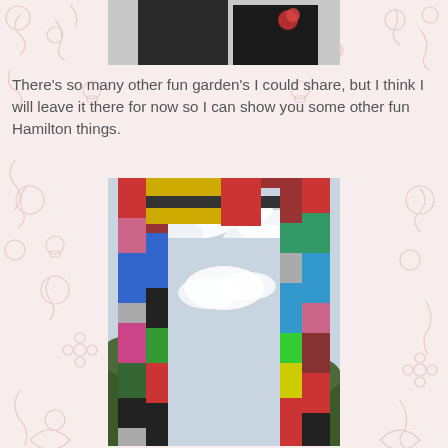[Figure (photo): Partial photo at top of page, showing people outdoors]
There's so many other fun garden's I could share, but I think I will leave it there for now so I can show you some other fun Hamilton things.
[Figure (photo): Photo of a large colorful public art installation - a tall rectangular arch structure made of brightly colored vertical and horizontal bands of color (red, blue, green, yellow, pink, black, grey, maroon), viewed from below against a cloudy sky]